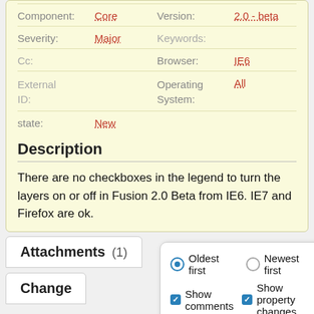| Field | Value | Field | Value |
| --- | --- | --- | --- |
| Component: | Core | Version: | 2.0 - beta |
| Severity: | Major | Keywords: |  |
| Cc: |  | Browser: | IE6 |
| External ID: |  | Operating System: | All |
| state: | New |  |  |
Description
There are no checkboxes in the legend to turn the layers on or off in Fusion 2.0 Beta from IE6. IE7 and Firefox are ok.
Attachments (1)
Change
Oldest first  Newest first  Show comments  Show property changes